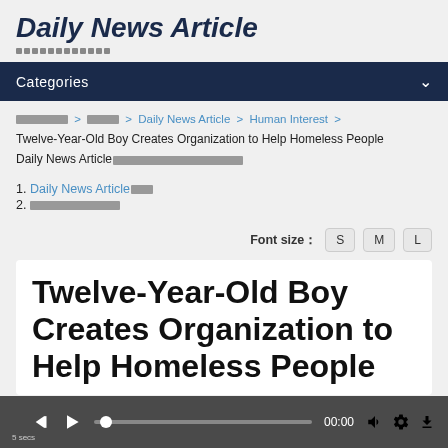Daily News Article
Categories
xxxxxxxxxx > xxxxxx > Daily News Article > Human Interest > Twelve-Year-Old Boy Creates Organization to Help Homeless People
Daily News Articlexxxxxxxxxxxxxxxxxxxxxxxxx
1. Daily News Articlexxxx
2. xxxxxxxxxxxxxxxx
Font size: S M L
Twelve-Year-Old Boy Creates Organization to Help Homeless People